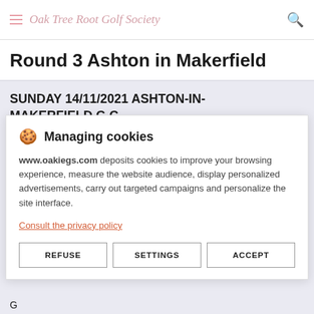Oak Tree Root Golf Society
Round 3 Ashton in Makerfield
SUNDAY 14/11/2021 ASHTON-IN-MAKERFIELD G.C.
🍪 Managing cookies

www.oakiegs.com deposits cookies to improve your browsing experience, measure the website audience, display personalized advertisements, carry out targeted campaigns and personalize the site interface.

Consult the privacy policy

REFUSE   SETTINGS   ACCEPT
G
6 B JAMES   102   19